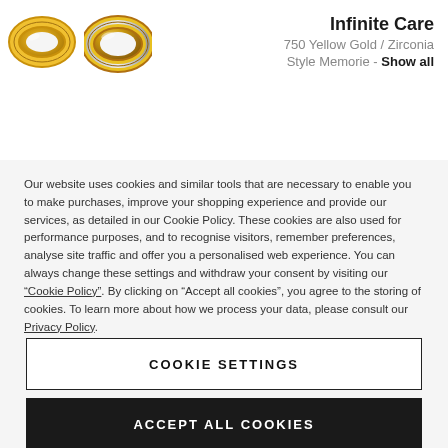[Figure (photo): Two yellow gold ring product images (Infinite Care jewelry) shown side by side in the header area]
Infinite Care
750 Yellow Gold / Zirconia
Style Memorie - Show all
Our website uses cookies and similar tools that are necessary to enable you to make purchases, improve your shopping experience and provide our services, as detailed in our Cookie Policy. These cookies are also used for performance purposes, and to recognise visitors, remember preferences, analyse site traffic and offer you a personalised web experience. You can always change these settings and withdraw your consent by visiting our “Cookie Policy”. By clicking on “Accept all cookies”, you agree to the storing of cookies. To learn more about how we process your data, please consult our Privacy Policy.
COOKIE SETTINGS
ACCEPT ALL COOKIES